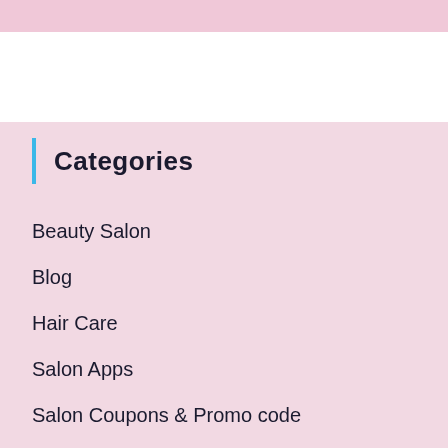Categories
Beauty Salon
Blog
Hair Care
Salon Apps
Salon Coupons & Promo code
Salon Gift Card
Salon Hours